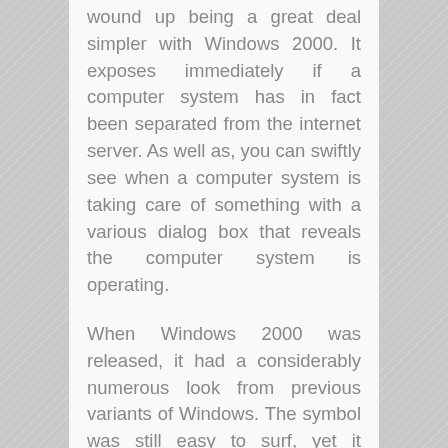wound up being a great deal simpler with Windows 2000. It exposes immediately if a computer system has in fact been separated from the internet server. As well as, you can swiftly see when a computer system is taking care of something with a various dialog box that reveals the computer system is operating.
When Windows 2000 was released, it had a considerably numerous look from previous variants of Windows. The symbol was still easy to surf, yet it allowed factors like having countless windows open at the same time as well as a lot easier browsing between those windows.
It would certainly not be prolonged before Microsoft released a much more